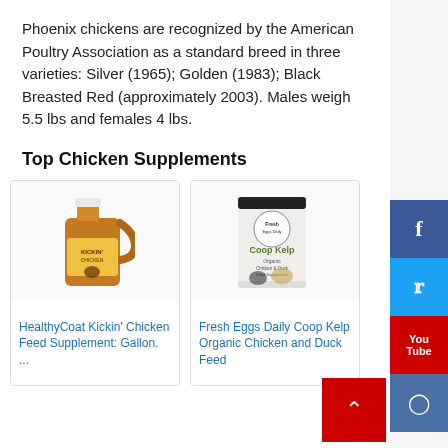Phoenix chickens are recognized by the American Poultry Association as a standard breed in three varieties: Silver (1965); Golden (1983); Black Breasted Red (approximately 2003). Males weigh 5.5 lbs and females 4 lbs.
Top Chicken Supplements
[Figure (photo): HealthyCoat Kickin Chicken Feed Supplement gallon jug product photo]
HealthyCoat Kickin' Chicken Feed Supplement: Gallon. ...
[Figure (photo): Fresh Eggs Daily Coop Kelp Organic Chicken and Duck Feed Supplement container photo]
Fresh Eggs Daily Coop Kelp Organic Chicken and Duck Feed